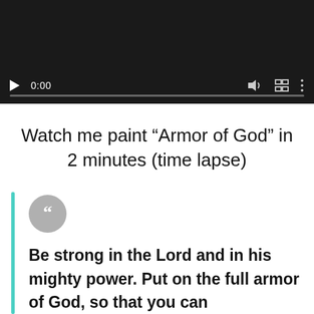[Figure (screenshot): Video player with dark background showing controls: play button, time 0:00, volume icon, fullscreen icon, more options icon, and a progress bar.]
Watch me paint “Armor of God” in 2 minutes (time lapse)
Be strong in the Lord and in his mighty power. Put on the full armor of God, so that you can